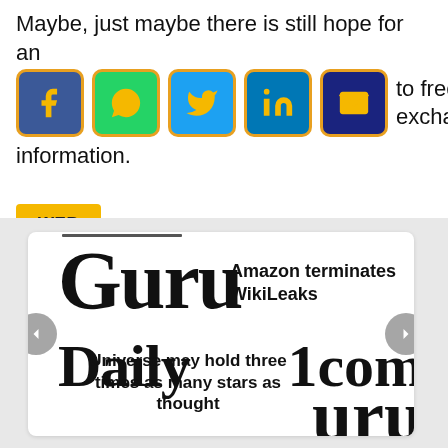Maybe, just maybe there is still hope for an internet that is now to freely exchange information.
[Figure (infographic): Social media share icons: Facebook, WhatsApp, Twitter, LinkedIn, Email — all with dark blue/colored backgrounds and gold/yellow borders]
WEB
[Figure (screenshot): A carousel widget showing newspaper-style clippings. Headlines visible: 'Amazon terminates WikiLeaks' and 'Universe may hold three times as many stars as thought'. Background shows large serif text from 'Guru Daily' publication. Left and right navigation arrows visible.]